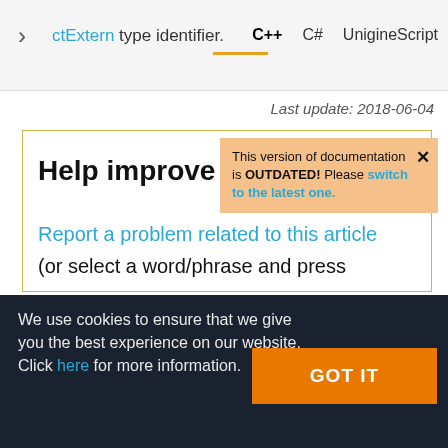ctExtern type identifier. | C++ | C# | UnigineScript
Last update: 2018-06-04
Help improve
This version of documentation is OUTDATED! Please switch to the latest one. ×
Report a problem related to this article (or select a word/phrase and press
We use cookies to ensure that we give you the best experience on our website. Click here for more information.
GOT IT